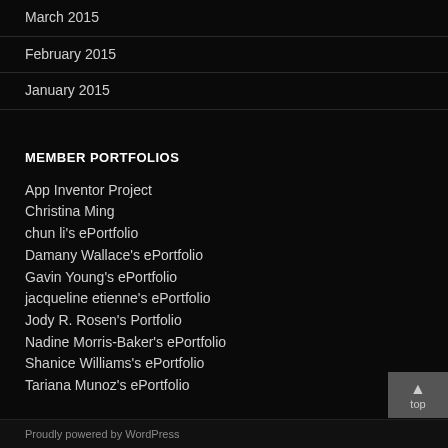March 2015
February 2015
January 2015
MEMBER PORTFOLIOS
App Inventor Project
Christina Ming
chun li's ePortfolio
Damany Wallace's ePortfolio
Gavin Young's ePortfolio
jacqueline etienne's ePortfolio
Jody R. Rosen's Portfolio
Nadine Morris-Baker's ePortfolio
Shanice Williams's ePortfolio
Tariana Munoz's ePortfolio
Proudly powered by WordPress